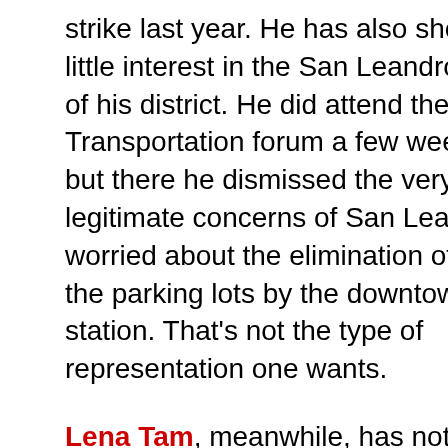strike last year.  He has also shown very little interest in the San Leandro portion of his district. He did attend the Transportation forum a few weeks ago, but there he dismissed the very legitimate concerns of San Leandrans worried about the elimination of one of the parking lots by the downtown BART station.  That's not the type of representation one wants.
Lena Tam, meanwhile, has not been impressed by her performance at the Alameda City Council.   She has sided with the Police on most issues, supported the acquisition of an